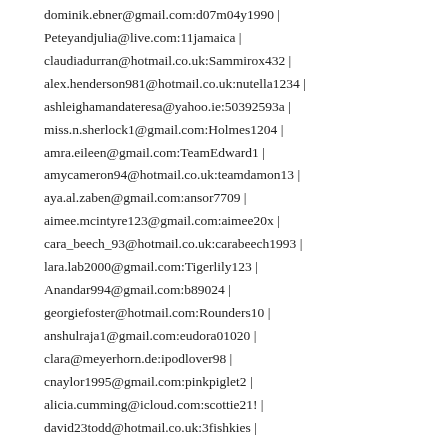dominik.ebner@gmail.com:d07m04y1990 |
Peteyandjulia@live.com:11jamaica |
claudiadurran@hotmail.co.uk:Sammirox432 |
alex.henderson981@hotmail.co.uk:nutella1234 |
ashleighamandateresa@yahoo.ie:50392593a |
miss.n.sherlock1@gmail.com:Holmes1204 |
amra.eileen@gmail.com:TeamEdward1 |
amycameron94@hotmail.co.uk:teamdamon13 |
aya.al.zaben@gmail.com:ansor7709 |
aimee.mcintyre123@gmail.com:aimee20x |
cara_beech_93@hotmail.co.uk:carabeech1993 |
lara.lab2000@gmail.com:Tigerlily123 |
Anandar994@gmail.com:b89024 |
georgiefoster@hotmail.com:Rounders10 |
anshulraja1@gmail.com:eudora01020 |
clara@meyerhorn.de:ipodlover98 |
cnaylor1995@gmail.com:pinkpiglet2 |
alicia.cumming@icloud.com:scottie21! |
david23todd@hotmail.co.uk:3fishkies |